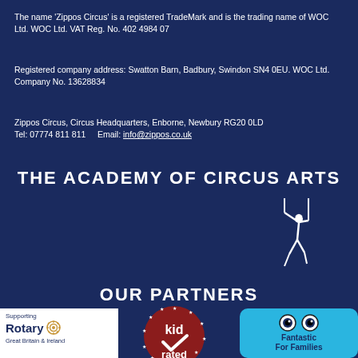The name 'Zippos Circus' is a registered TradeMark and is the trading name of WOC Ltd. WOC Ltd. VAT Reg. No. 402 4984 07
Registered company address: Swatton Barn, Badbury, Swindon SN4 0EU. WOC Ltd. Company No. 13628834
Zippos Circus, Circus Headquarters, Enborne, Newbury RG20 0LD
Tel: 07774 811 811    Email: info@zippos.co.uk
THE ACADEMY OF CIRCUS ARTS
[Figure (illustration): White silhouette of an aerial circus performer on a trapeze or pole]
OUR PARTNERS
[Figure (logo): Supporting Rotary Great Britain & Ireland logo on white background]
[Figure (logo): Kid Rated badge - dark red circular badge with stars and checkmark]
[Figure (logo): Fantastic For Families logo on light blue rounded rectangle background with googly eyes]